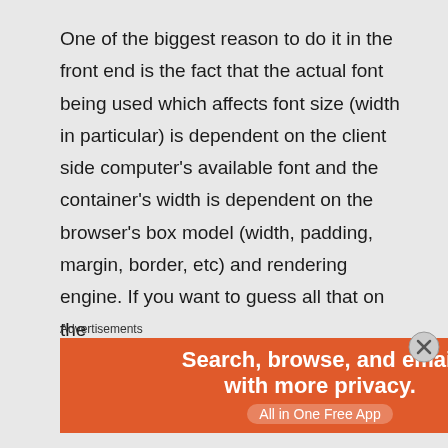One of the biggest reason to do it in the front end is the fact that the actual font being used which affects font size (width in particular) is dependent on the client side computer's available font and the container's width is dependent on the browser's box model (width, padding, margin, border, etc) and rendering engine. If you want to guess all that on the
Advertisements
[Figure (other): DuckDuckGo advertisement banner with orange left section reading 'Search, browse, and email with more privacy. All in One Free App' and dark right section with DuckDuckGo logo and name.]